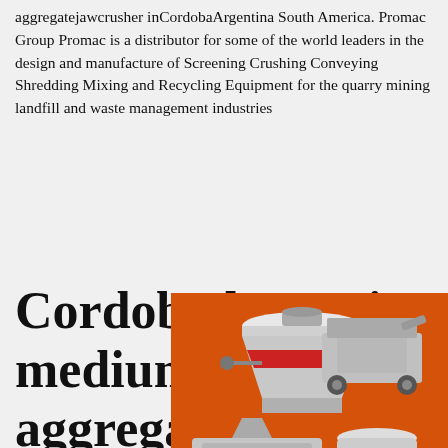aggregatejawcrusher inCordobaArgentina South America. Promac Group Promac is a distributor for some of the world leaders in the design and manufacture of Screening Crushing Conveying Shredding Mixing and Recycling Equipment for the quarry mining landfill and waste management industries
Cordoba low price medium copper mine aggregate jaw crusher ...
[Figure (photo): Orange sidebar advertisement showing industrial mining/crushing machines (cone crusher, jaw crusher, mill) on orange background with 'Enjoy 3% discount', 'Click to Chat', 'Enquiry', and 'limingjlmofen@sina.com' panels]
medium iron ore aggregate jaw crusher inAnnaba Algeria. mediumilmeniteaggregate jaw crusher in Belgium Europe; high end small bauxite bucket conveyerpricein Algiers Algeria Africa; baxter crushers uk; Valparaiso Chile South America sell ceramic sand kiln sell;mediumbentonite rod mill inCordobaArgentina South America;medium copper